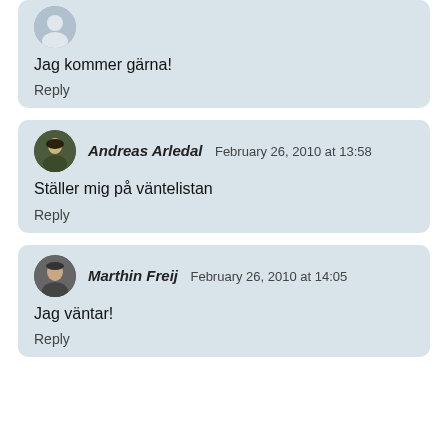Jag kommer gärna!
Reply
Andreas Arledal  February 26, 2010 at 13:58
Ställer mig på väntelistan
Reply
Marthin Freij  February 26, 2010 at 14:05
Jag väntar!
Reply